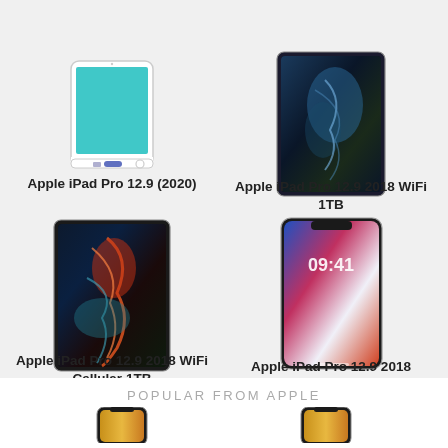[Figure (illustration): Apple iPad Pro 12.9 (2020) device illustration - teal screen with home button]
Apple iPad Pro 12.9 (2020)
[Figure (photo): Apple iPad Pro 12.9 2018 WiFi 1TB - dark artistic wallpaper]
Apple iPad Pro 12.9 2018 WiFi 1TB
[Figure (photo): Apple iPad Pro 12.9 2018 WiFi Cellular 1TB - dark artistic wallpaper]
Apple iPad Pro 12.9 2018 WiFi Cellular 1TB
[Figure (photo): Apple iPad Pro 12.9 2018 - iPhone X style device with colorful wallpaper]
Apple iPad Pro 12.9 2018
POPULAR FROM APPLE
[Figure (photo): Apple iPhone device gold color - partial view at bottom]
[Figure (photo): Apple iPhone device gold color - partial view at bottom right]